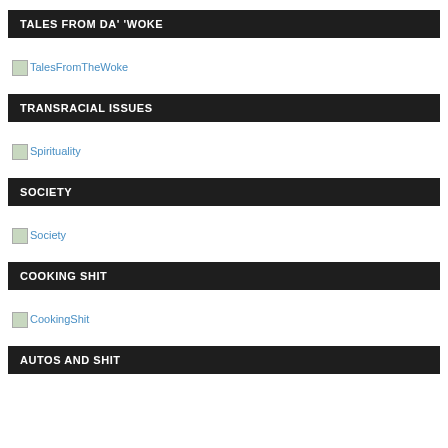TALES FROM DA' 'WOKE
[Figure (other): Broken image placeholder link labeled TalesFromTheWoke]
TRANSRACIAL ISSUES
[Figure (other): Broken image placeholder link labeled Spirituality]
SOCIETY
[Figure (other): Broken image placeholder link labeled Society]
COOKING SHIT
[Figure (other): Broken image placeholder link labeled CookingShit]
AUTOS AND SHIT